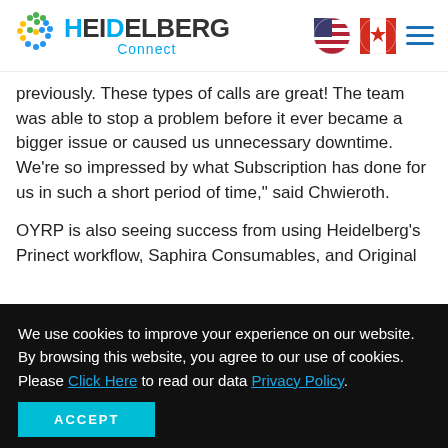[Figure (logo): Heidelberg Connect logo with colorful dot grid and blue/dark text]
previously.  These types of calls are great! The team was able to stop a problem before it ever became a bigger issue or caused us unnecessary downtime. We're so impressed by what Subscription has done for us in such a short period of time," said Chwieroth.
OYRP is also seeing success from using Heidelberg's Prinect workflow, Saphira Consumables, and Original
We use cookies to improve your experience on our website. By browsing this website, you agree to our use of cookies. Please Click Here to read our data Privacy Policy.
ACCEPT